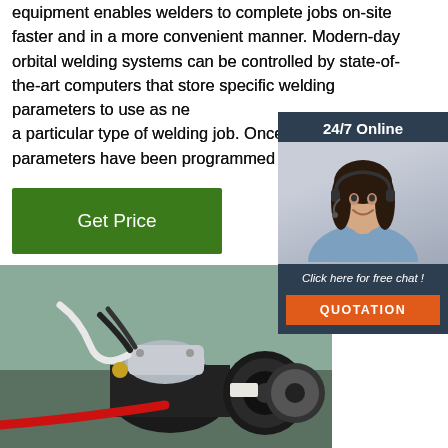equipment enables welders to complete jobs on-site faster and in a more convenient manner. Modern-day orbital welding systems can be controlled by state-of-the-art computers that store specific welding parameters to use as needed for a particular type of welding job. Once the parameters have been programmed into
[Figure (other): 24/7 Online chat widget with a female customer service representative wearing a headset. Contains 'Click here for free chat!' text and an orange QUOTATION button.]
[Figure (photo): Close-up photograph of orbital welding equipment showing a motorized weld head with cables, hoses, and a wire spool.]